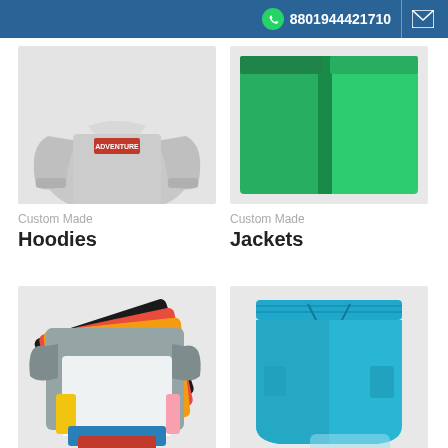8801944421710
[Figure (photo): Gray hoodie sweatshirt with ADVENTURE graphic label on chest, cropped product photo on light gray background]
Custom Made
Hoodies
[Figure (photo): Green jacket/sweatshirt folded, cropped product photo showing green fabric on light background]
Custom Made
Jackets
[Figure (photo): Stack of colorful long-sleeve t-shirts in multiple colors including gray, white, yellow, red, black, pink, blue, arranged in fan layout]
Custom Made
[Figure (photo): Light blue drawstring shorts with side pockets, flat lay product photo on white background]
Custom Made